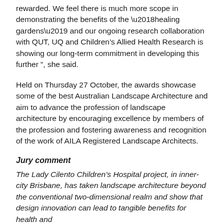rewarded. We feel there is much more scope in demonstrating the benefits of the ‘healing gardens’ and our ongoing research collaboration with QUT, UQ and Children’s Allied Health Research is showing our long-term commitment in developing this further ”, she said.
Held on Thursday 27 October, the awards showcase some of the best Australian Landscape Architecture and aim to advance the profession of landscape architecture by encouraging excellence by members of the profession and fostering awareness and recognition of the work of AILA Registered Landscape Architects.
Jury comment
The Lady Cilento Children’s Hospital project, in inner-city Brisbane, has taken landscape architecture beyond the conventional two-dimensional realm and show that design innovation can lead to tangible benefits for health and